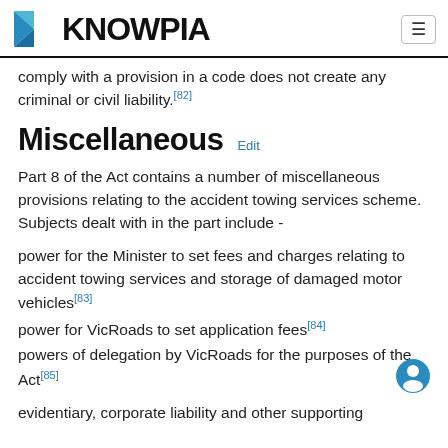KNOWPIA
comply with a provision in a code does not create any criminal or civil liability.[82]
Miscellaneous Edit
Part 8 of the Act contains a number of miscellaneous provisions relating to the accident towing services scheme. Subjects dealt with in the part include -
power for the Minister to set fees and charges relating to accident towing services and storage of damaged motor vehicles[83]
power for VicRoads to set application fees[84]
powers of delegation by VicRoads for the purposes of the Act[85]
evidentiary, corporate liability and other supporting